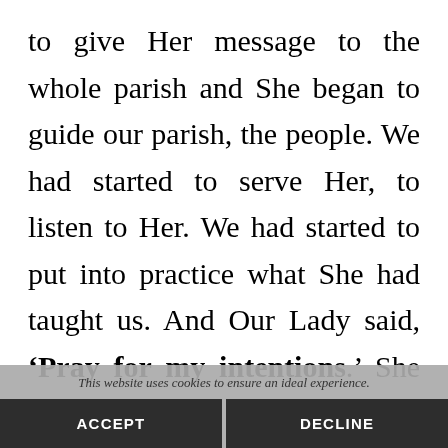to give Her message to the whole parish and She began to guide our parish, the people. We had started to serve Her, to listen to Her. We had started to put into practice what She had taught us. And Our Lady said, 'Pray for my intentions.' She has
This website uses cookies to ensure an ideal experience.
ACCEPT
DECLINE